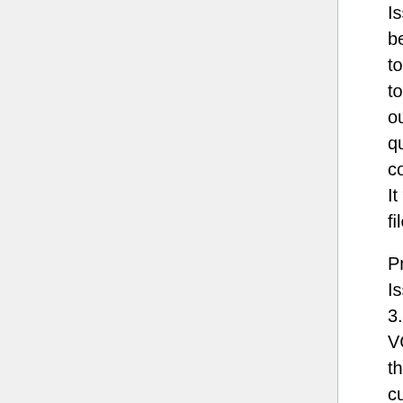Issue: Our wifi adapter installed in the beginning of the quarter failed, we had to revert back to the wifi usb to connect to the Jetson. This significantly slowed our workflow for the remainder of the quarter because the slow network connection resulted in slow file transfer. It was also frustratingly laggy to edit files over ssh.
Problem: Jetson Nano 3.3V line broken Issue: We accidentally connected the 3.3V from the Jetson to V+ instead of VCC on the PWM board. As a result, this created a short and drew too much current from the Jetson into the PWM board. While the PWM board is fine, our wires melted and the 3.3V line no longer is able to produce the correct voltage from any of the pins on the Jetson. We solved this problem by using the 5V output pin on the Jetson. Since the PWM